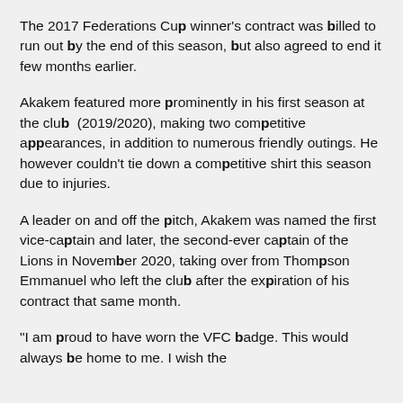The 2017 Federations Cup winner's contract was billed to run out by the end of this season, but also agreed to end it few months earlier.
Akakem featured more prominently in his first season at the club (2019/2020), making two competitive appearances, in addition to numerous friendly outings. He however couldn't tie down a competitive shirt this season due to injuries.
A leader on and off the pitch, Akakem was named the first vice-captain and later, the second-ever captain of the Lions in November 2020, taking over from Thompson Emmanuel who left the club after the expiration of his contract that same month.
"I am proud to have worn the VFC badge. This would always be home to me. I wish the